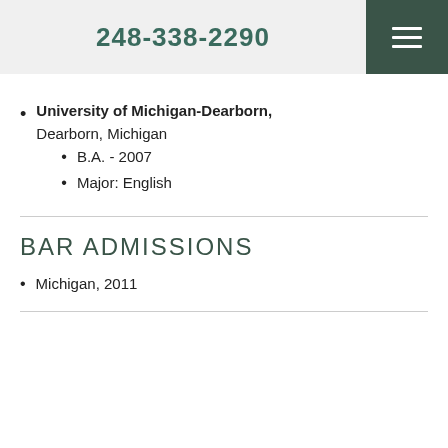248-338-2290
University of Michigan-Dearborn, Dearborn, Michigan
B.A. - 2007
Major: English
BAR ADMISSIONS
Michigan, 2011